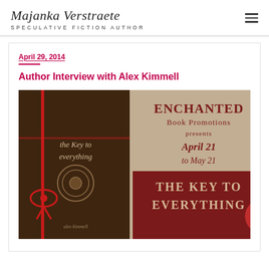Majanka Verstraete
SPECULATIVE FICTION AUTHOR
April 29, 2014
Author Interview with Alex Kimmell
[Figure (illustration): Enchanted Book Promotions presents The Key to Everything by Alex Kimmell, April 21 to May 21 book tour banner image showing a book with a decorative red ribbon on a parchment-style background.]